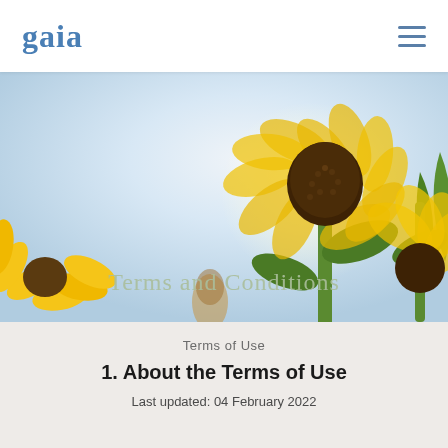gaia
[Figure (photo): Sunflowers photographed from below against a bright sky, with large yellow petals and green stems. A banner of 'Terms and Conditions' appears overlaid in light green text at the bottom of the image.]
Terms and Conditions
Terms of Use
1. About the Terms of Use
Last updated: 04 February 2022